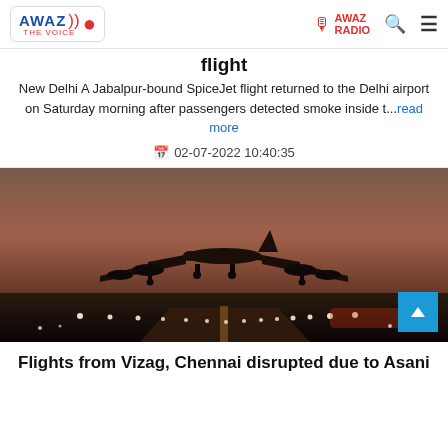AWAZ THE VOICE — AWAZ RADIO
flight
New Delhi A Jabalpur-bound SpiceJet flight returned to the Delhi airport on Saturday morning after passengers detected smoke inside t...read more
02-07-2022 10:40:35
[Figure (photo): Silhouette of an airplane taking off from a runway at dusk/sunset, with runway lights visible below]
Flights from Vizag, Chennai disrupted due to Asani